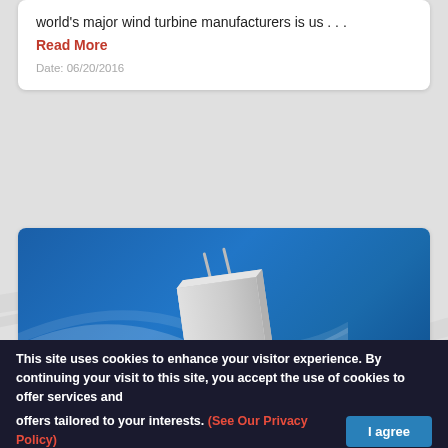world's major wind turbine manufacturers is us . . .
Read More
Date: 06/20/2016
[Figure (photo): Slimpack MLSH hermetically sealed aluminum electrolytic capacitor product photo on blue background]
Slimpack MLSH hermetically sealed aluminum electrolytic capacitors
This site uses cookies to enhance your visitor experience. By continuing your visit to this site, you accept the use of cookies to offer services and offers tailored to your interests. (See Our Privacy Policy)